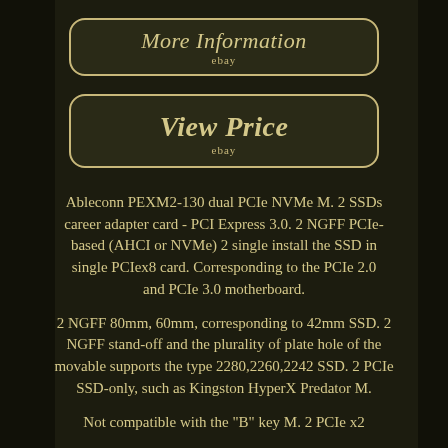[Figure (screenshot): Button labeled 'More Information' with 'ebay' subtext, dark background with gold border]
[Figure (screenshot): Button labeled 'View Price' with 'ebay' subtext, dark background with gold border]
Ableconn PEXM2-130 dual PCIe NVMe M. 2 SSDs career adapter card - PCI Express 3.0. 2 NGFF PCIe-based (AHCI or NVMe) 2 single install the SSD in single PCIex8 card. Corresponding to the PCIe 2.0 and PCIe 3.0 motherboard.
2 NGFF 80mm, 60mm, corresponding to 42mm SSD. 2 NGFF stand-off and the plurality of plate hole of the movable supports the type 2280,2260,2242 SSD. 2 PCIe SSD-only, such as Kingston HyperX Predator M.
Not compatible with the "B" key M. 2 PCIe x2